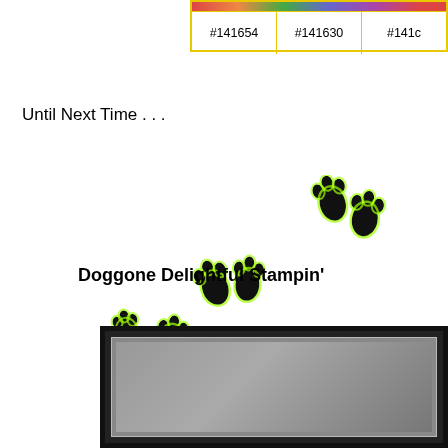| #141654 | #141630 | #141c... |
| --- | --- | --- |
Until Next Time . . .
[Figure (illustration): Dog paw prints trail across the page in a scattered walking pattern]
Doggone Delightful Stampin'
[Figure (photo): Photograph partially visible at bottom of page, dark framed image showing grey/dark background]